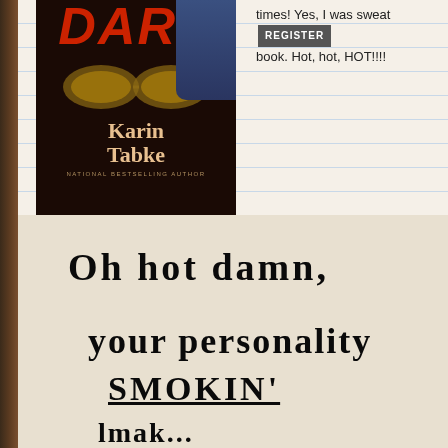[Figure (photo): Book cover for 'Dare' by Karin Tabke, National Bestselling Author. Dark background with whiskey glasses and a man in a blue shirt. Title in red/dark letters.]
times! Yes, I was sweat book. Hot, hot, HOT!!!!
[Figure (photo): Handwritten note on paper reading: 'Oh hot damn, your personality SMOKIN' [continues off page]']